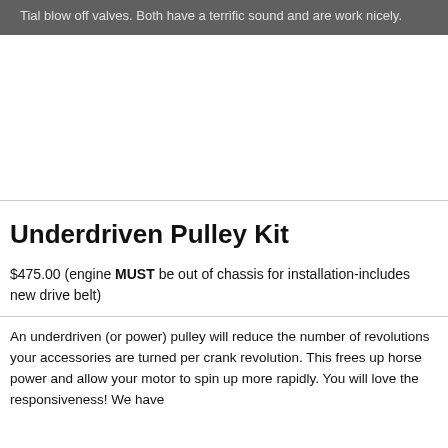Tial blow off valves. Both have a terrific sound and are work nicely.
Underdriven Pulley Kit
$475.00 (engine MUST be out of chassis for installation-includes new drive belt)
An underdriven (or power) pulley will reduce the number of revolutions your accessories are turned per crank revolution. This frees up horse power and allow your motor to spin up more rapidly. You will love the responsiveness! We have